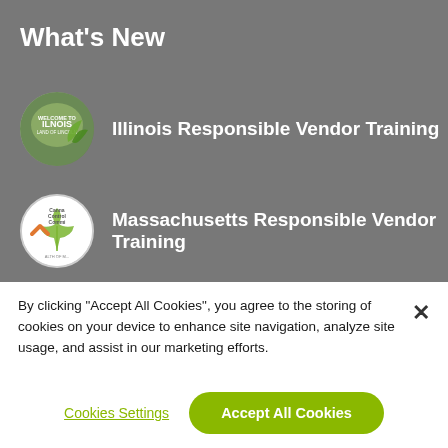What's New
Illinois Responsible Vendor Training
Massachusetts Responsible Vendor Training
eLearning Solutions
For Cannabis Lovers
By clicking “Accept All Cookies”, you agree to the storing of cookies on your device to enhance site navigation, analyze site usage, and assist in our marketing efforts.
Cookies Settings
Accept All Cookies